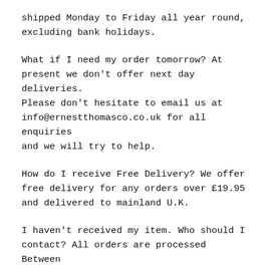shipped Monday to Friday all year round, excluding bank holidays.
What if I need my order tomorrow? At present we don't offer next day deliveries. Please don't hesitate to email us at info@ernestthomasco.co.uk for all enquiries and we will try to help.
How do I receive Free Delivery? We offer free delivery for any orders over £19.95 and delivered to mainland U.K.
I haven't received my item. Who should I contact? All orders are processed Between Monday to Friday, excluding bank holidays. Please allow 1-2 business days for order